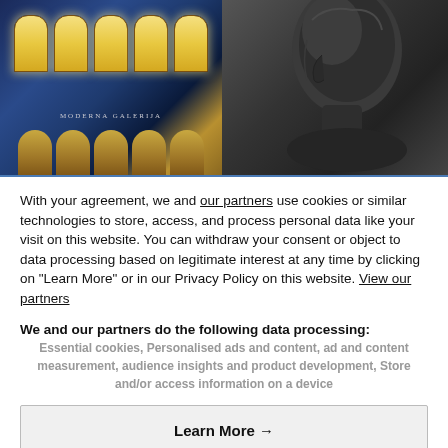[Figure (photo): Split image: left side shows a blue-lit neoclassical building (Moderna Galerija) at night with illuminated arched windows; right side shows a dark bronze bust sculpture of a human head in profile]
With your agreement, we and our partners use cookies or similar technologies to store, access, and process personal data like your visit on this website. You can withdraw your consent or object to data processing based on legitimate interest at any time by clicking on "Learn More" or in our Privacy Policy on this website. View our partners
We and our partners do the following data processing:
Essential cookies, Personalised ads and content, ad and content measurement, audience insights and product development, Store and/or access information on a device
Learn More →
Disagree and close
Agree and close